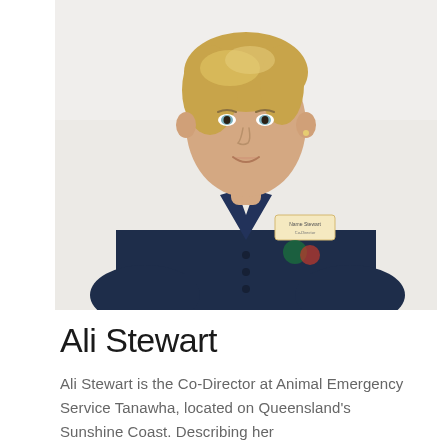[Figure (photo): Professional headshot of Ali Stewart, a blonde woman wearing a navy blue polo shirt with a name badge and logo emblem, photographed against a white/light grey background.]
Ali Stewart
Ali Stewart is the Co-Director at Animal Emergency Service Tanawha, located on Queensland's Sunshine Coast. Describing her